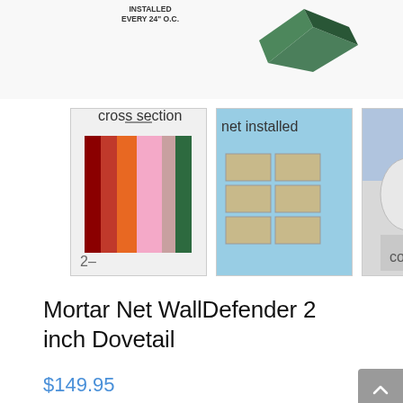[Figure (photo): Top portion of product image showing 'INSTALLED EVERY 24" O.C.' text label and a 3D corner piece of the WallDefender product]
[Figure (photo): Thumbnail 1: Cross-section diagram of wall assembly with insulation layers]
[Figure (photo): Thumbnail 2: Photo of blue wall panels with mortar net installed]
[Figure (photo): Thumbnail 3: Photo of white wrapped construction material/building]
Mortar Net WallDefender 2 inch Dovetail
$149.95
Mortar Net WallDefender 2 inch Dovetail – PDF